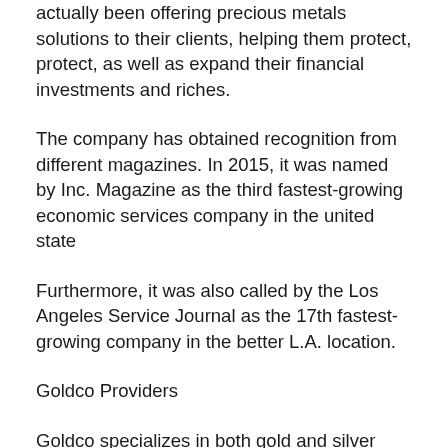actually been offering precious metals solutions to their clients, helping them protect, protect, as well as expand their financial investments and riches.
The company has obtained recognition from different magazines. In 2015, it was named by Inc. Magazine as the third fastest-growing economic services company in the united state
Furthermore, it was also called by the Los Angeles Service Journal as the 17th fastest-growing company in the better L.A. location.
Goldco Providers
Goldco specializes in both gold and silver